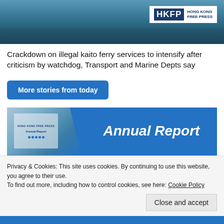[Figure (photo): Photo of a Hong Kong ferry/harbour scene with HKFP (Hong Kong Free Press) logo overlay in top right]
Crackdown on illegal kaito ferry services to intensify after criticism by watchdog, Transport and Marine Depts say
More stories from today
[Figure (photo): Annual Report banner - photo of a hand holding a tablet showing HKFP Annual Report, with blue diagonal background and 'Annual Report' text in white italic]
[Figure (photo): Code of Ethics banner - photo of HKFP materials with blue diagonal background and 'Code of Ethics' text in white italic]
Privacy & Cookies: This site uses cookies. By continuing to use this website, you agree to their use.
To find out more, including how to control cookies, see here: Cookie Policy
Close and accept